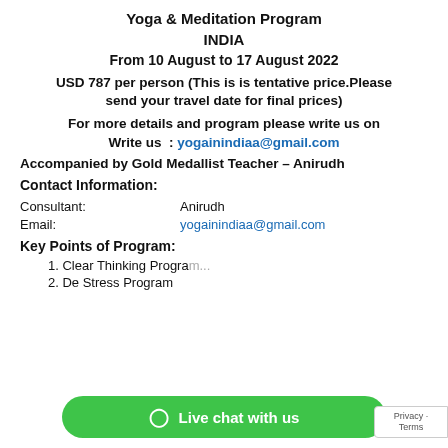Yoga & Meditation Program
INDIA
From 10 August to 17 August 2022
USD 787 per person (This is is tentative price.Please send your travel date for final prices)
For more details and program please write us on
Write us  : yogainindiaa@gmail.com
Accompanied by Gold Medallist Teacher – Anirudh
Contact Information:
Consultant:              Anirudh
Email:                   yogainindiaa@gmail.com
Key Points of Program:
1. Clear Thinking Progra...
2. De Stress Program